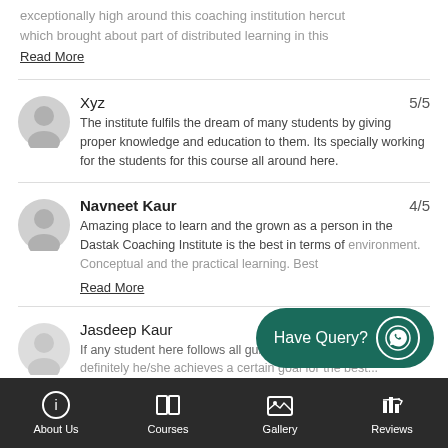exceptionally high around this coaching institution hercut which brought about part of distributed learning in this
Read More
Xyz
5/5
The institute fulfils the dream of many students by giving proper knowledge and education to them. Its specially working for the students for this course all around here.
Navneet Kaur
4/5
Amazing place to learn and the grown as a person in the Dastak Coaching Institute is the best in terms of environment. Conceptual and the practical learning. Best
Read More
Jasdeep Kaur
4/5
If any student here follows all guidances in here, then definitely he/she achieves a certain goal for the best...
[Figure (other): Have Query? WhatsApp button with WhatsApp icon]
About Us  Courses  Gallery  Reviews